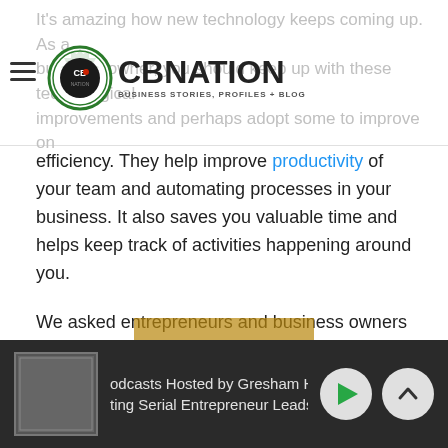CBNATION - Business Stories, Profiles + Blog
It's amazing how new technology keeps coming up. As a business owner, you should keep up with these technological improvements and perhaps adopt some to improve on efficiency. They help improve productivity of your team and automating processes in your business. It also saves you valuable time and helps keep track of activities happening around you.
We asked entrepreneurs and business owners about the technologies they most look forward to and here are the responses.
#1- R+
odcasts Hosted by Gresham Harkless | ting Serial Entrepreneur Leads the C